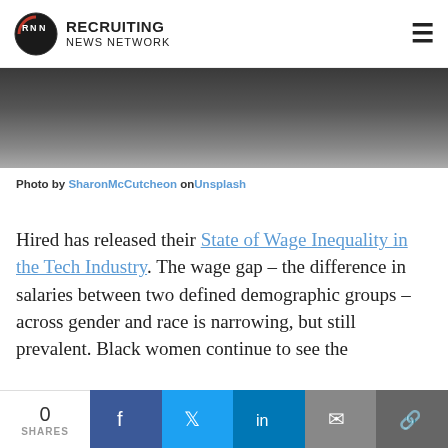Recruiting News Network
[Figure (photo): Close-up photo of a hand with rings, dark background]
Photo by Sharon McCutcheon on Unsplash
Hired has released their State of Wage Inequality in the Tech Industry. The wage gap – the difference in salaries between two defined demographic groups – across gender and race is narrowing, but still prevalent. Black women continue to see the
0 SHARES | Facebook | Twitter | LinkedIn | Email | Link